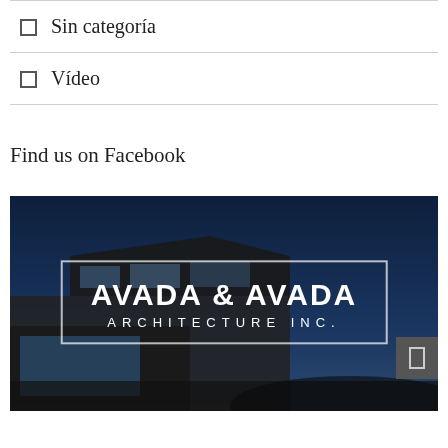Sin categoría
Vídeo
Find us on Facebook
[Figure (photo): Architecture firm banner image showing a modern building at night with dark blue sky. Overlay text reads 'AVADA & AVADA ARCHITECTURE INC.' in bold white letters inside a rectangular border. A small grey button appears on the right side.]